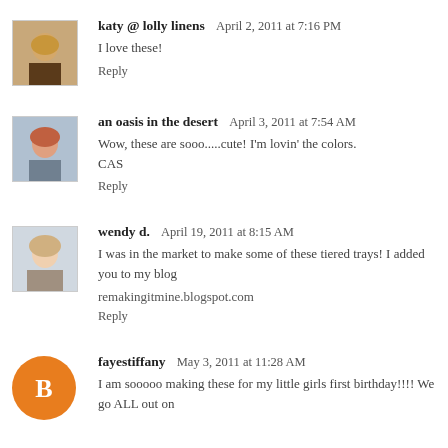[Figure (photo): Avatar photo of katy, woman with blonde hair]
katy @ lolly linens  April 2, 2011 at 7:16 PM
I love these!
Reply
[Figure (photo): Avatar photo of an oasis in the desert, person with reddish hair]
an oasis in the desert  April 3, 2011 at 7:54 AM
Wow, these are sooo.....cute! I'm lovin' the colors.
CAS
Reply
[Figure (photo): Avatar photo of wendy d., young woman smiling]
wendy d.  April 19, 2011 at 8:15 AM
I was in the market to make some of these tiered trays! I added you to my blog
remakingitmine.blogspot.com
Reply
[Figure (logo): Blogger B logo orange circle for fayestiffany]
fayestiffany  May 3, 2011 at 11:28 AM
I am sooooo making these for my little girls first birthday!!!! We go ALL out on